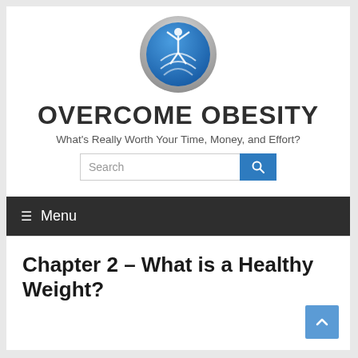[Figure (logo): Circular logo with blue background and silver border featuring a white human figure with arms raised and crossed lines below, for Overcome Obesity website]
OVERCOME OBESITY
What's Really Worth Your Time, Money, and Effort?
[Figure (other): Search bar with text input field and blue search button with magnifying glass icon]
≡  Menu
Chapter 2 – What is a Healthy Weight?